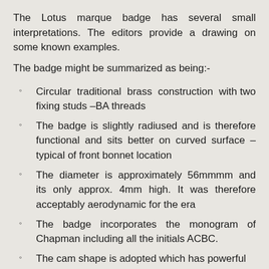The Lotus marque badge has several small interpretations. The editors provide a drawing on some known examples.
The badge might be summarized as being:-
Circular traditional brass construction with two fixing studs –BA threads
The badge is slightly radiused and is therefore functional and sits better on curved surface – typical of front bonnet location
The diameter is approximately 56mmmm and its only approx. 4mm high. It was therefore acceptably aerodynamic for the era
The badge incorporates the monogram of Chapman including all the initials ACBC.
The cam shape is adopted which has powerful